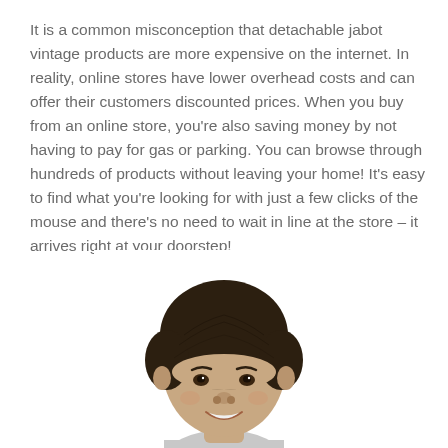It is a common misconception that detachable jabot vintage products are more expensive on the internet. In reality, online stores have lower overhead costs and can offer their customers discounted prices. When you buy from an online store, you're also saving money by not having to pay for gas or parking. You can browse through hundreds of products without leaving your home! It's easy to find what you're looking for with just a few clicks of the mouse and there's no need to wait in line at the store – it arrives right at your doorstep!
[Figure (photo): A young boy with a dark bowl-cut hairstyle, smiling, shown from shoulders up against a white background.]